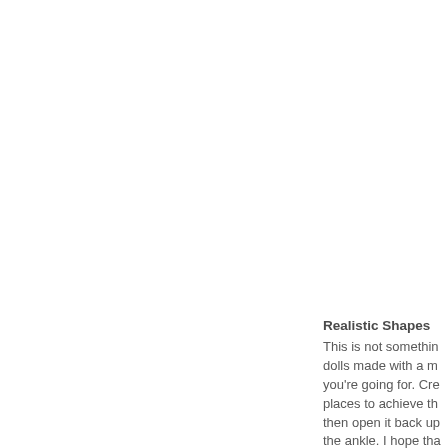Realistic Shapes
This is not something dolls made with a m you're going for. Cre places to achieve th then open it back up the ankle. I hope tha